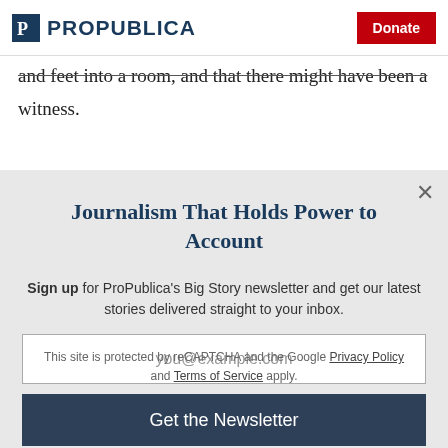ProPublica | Donate
and feet into a room, and that there might have been a witness.
Journalism That Holds Power to Account
Sign up for ProPublica's Big Story newsletter and get our latest stories delivered straight to your inbox.
you@example.com
Get the Newsletter
No thanks, I'm all set
This site is protected by reCAPTCHA and the Google Privacy Policy and Terms of Service apply.